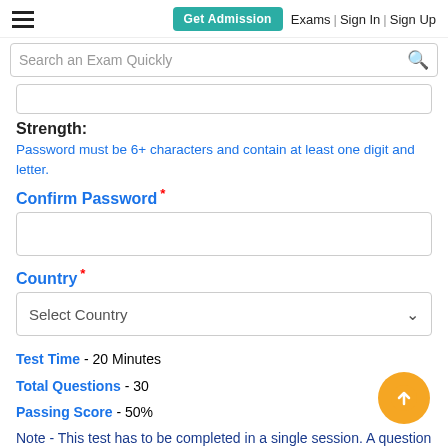Get Admission | Exams | Sign In | Sign Up
Search an Exam Quickly
Strength:
Password must be 6+ characters and contain at least one digit and letter.
Confirm Password *
Country *
Select Country
Test Time - 20 Minutes
Total Questions - 30
Passing Score - 50%
Note - This test has to be completed in a single session. A question may have multiple correct options. You have mark all the correct options for your answer to be considered correct. You will see checkboxes instead of the radio buttons for them.